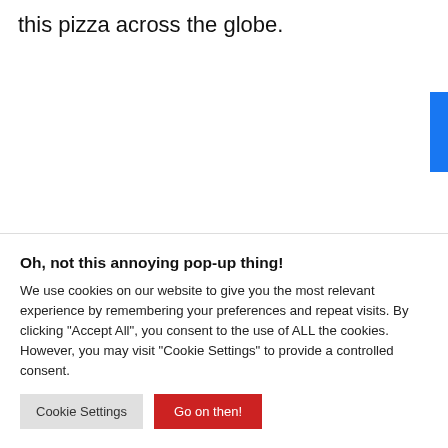this pizza across the globe.
[Figure (screenshot): Social share bar with 163 shares, Facebook button, Twitter button, Pinterest button with close overlay, gray banner with 'Previous article' text]
Oh, not this annoying pop-up thing!
We use cookies on our website to give you the most relevant experience by remembering your preferences and repeat visits. By clicking "Accept All", you consent to the use of ALL the cookies. However, you may visit "Cookie Settings" to provide a controlled consent.
Cookie Settings   Go on then!